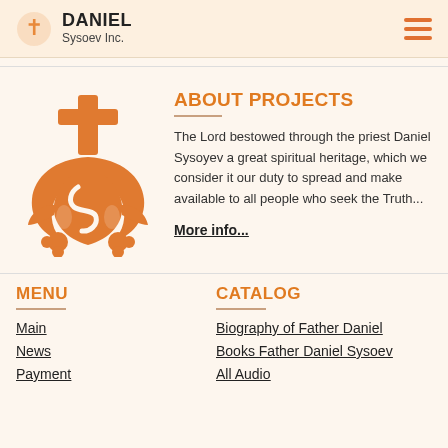DANIEL Sysoev Inc.
[Figure (logo): Orthodox Christian decorative logo with cross and ornamental design in orange]
ABOUT PROJECTS
The Lord bestowed through the priest Daniel Sysoyev a great spiritual heritage, which we consider it our duty to spread and make available to all people who seek the Truth...
More info...
MENU
Main
News
Payment
CATALOG
Biography of Father Daniel
Books Father Daniel Sysoev
All Audio